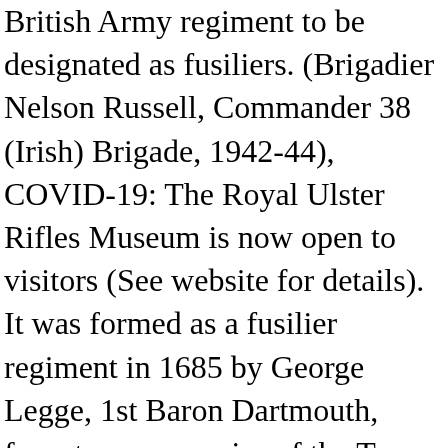British Army regiment to be designated as fusiliers. (Brigadier Nelson Russell, Commander 38 (Irish) Brigade, 1942-44), COVID-19: The Royal Ulster Rifles Museum is now open to visitors (See website for details). It was formed as a fusilier regiment in 1685 by George Legge, 1st Baron Dartmouth, from two companies of the Tower of London guard, and was originally called the Ordnance Regiment. Trace your military heritage through our Research Database. These were quartered at Fort Manoel where a substantial number fell ill with intermittent fever. 3rd and 4th